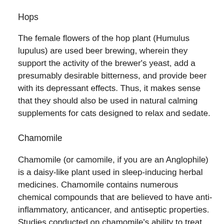Hops
The female flowers of the hop plant (Humulus lupulus) are used beer brewing, wherein they support the activity of the brewer's yeast, add a presumably desirable bitterness, and provide beer with its depressant effects. Thus, it makes sense that they should also be used in natural calming supplements for cats designed to relax and sedate.
Chamomile
Chamomile (or camomile, if you are an Anglophile) is a daisy-like plant used in sleep-inducing herbal medicines. Chamomile contains numerous chemical compounds that are believed to have anti-inflammatory, anticancer, and antiseptic properties. Studies conducted on chamomile's ability to treat stress have shown encouraging